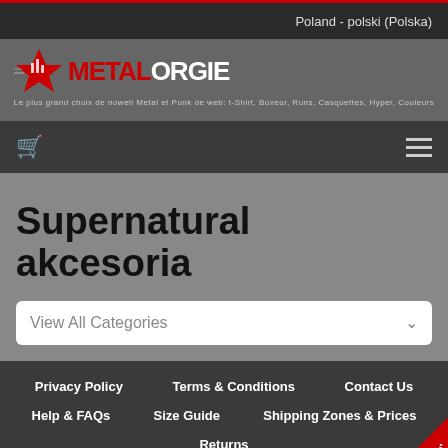Poland - polski (Polska)
[Figure (logo): MetalOrgie logo with red star and text METALORGIE with tagline]
Le plus grand choix de nowels Metal et Punk de web: t-Shirt, Boxeur, Runs, Casquettes, Hyper, Couleurs
[Figure (infographic): Navigation bar with cart icon and hamburger menu]
Supernatural akcesoria
View All Categories
Privacy Policy   Terms & Conditions   Contact Us   Help & FAQs   Size Guide   Shipping Zones & Prices   Returns